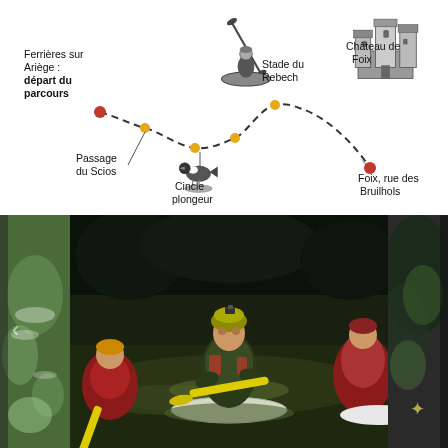[Figure (map): Schematic map of a kayak/canoe route from Ferrières sur Ariège to Foix, rue des Bruilhols, showing waypoints: Stade du Rebech, Passage du Scios, Cincle plongeur, Château de Foix, connected by a dashed line with colored dots (red and orange). Illustrations of a kayaker, a bird (cincle plongeur), and Château de Foix castle are included.]
[Figure (photo): Photo of a person kayaking on a dark river, wearing a helmet and life jacket, paddling a light-colored kayak with a yellow paddle. Another kayaker visible at left edge, and a third at the far right edge.]